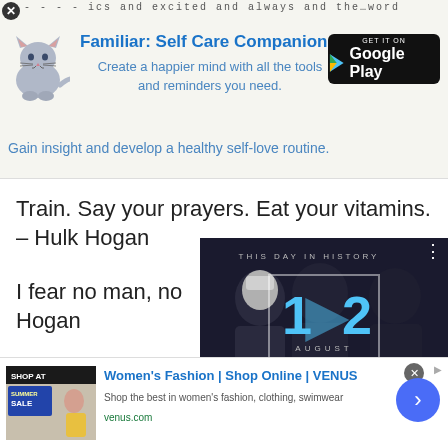[Figure (screenshot): Familiar: Self Care Companion app advertisement banner with cat illustration, tagline, and Google Play button]
Train. Say your prayers. Eat your vitamins. – Hulk Hogan
I fear no man, no Hogan
[Figure (screenshot): Video thumbnail showing 'This Day in History' with date 12 August, video playback controls]
[Figure (screenshot): Women's Fashion | Shop Online | VENUS advertisement with summer sale image]